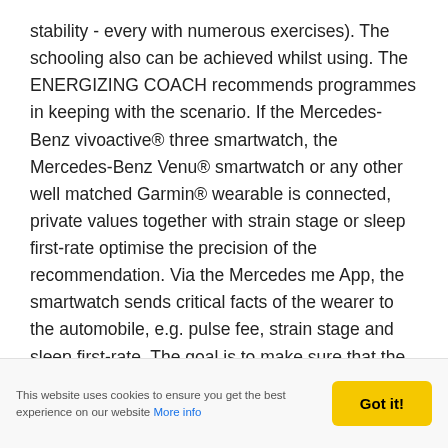stability - every with numerous exercises). The schooling also can be achieved whilst using. The ENERGIZING COACH recommends programmes in keeping with the scenario. If the Mercedes-Benz vivoactive® three smartwatch, the Mercedes-Benz Venu® smartwatch or any other well matched Garmin® wearable is connected, private values together with strain stage or sleep first-rate optimise the precision of the recommendation. Via the Mercedes me App, the smartwatch sends critical facts of the wearer to the automobile, e.g. pulse fee, strain stage and sleep first-rate. The goal is to make sure that the motive force feels properly and comfortable even all through traumatic or monotonous journeys. In addition, the heartbeat fee recorded through the
This website uses cookies to ensure you get the best experience on our website More info